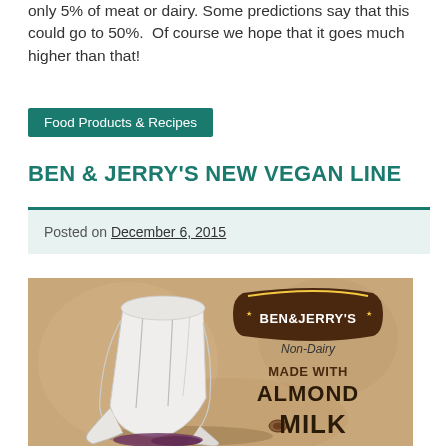only 5% of meat or dairy. Some predictions say that this could go to 50%.  Of course we hope that it goes much higher than that!
Food Products & Recipes
BEN & JERRY'S NEW VEGAN LINE
Posted on December 6, 2015
[Figure (illustration): Ben & Jerry's Non-Dairy Made With Almond Milk promotional image showing a covered ice cream pint under a white drape with the Ben & Jerry's logo and product text on a brown/tan background.]